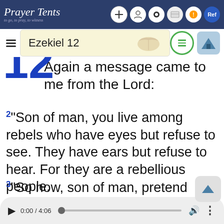Prayer Tents
Ezekiel 12
Again a message came to me from the Lord:
2"Son of man, you live among rebels who have eyes but refuse to see. They have ears but refuse to hear. For they are a rebellious people.
3"So now, son of man, pretend you are being sent into exile. Pack the few items an exile could carry, and leave